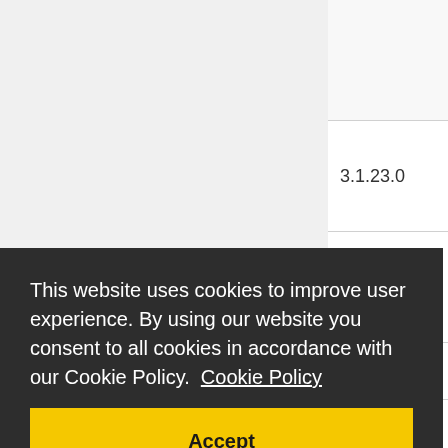| Version |
| --- |
|  |
| 3.1.23.0 |
| 3.1.22.2 |
| 3.0.21.2 |
| ion |
|  |
|  |
| 2.8.14.3 |
This website uses cookies to improve user experience. By using our website you consent to all cookies in accordance with our Cookie Policy. Cookie Policy
Accept